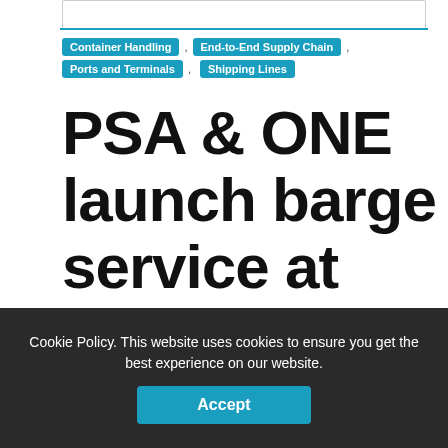Container Handling , End-to-End Supply Chain , Ports and Terminals , Shipping Lines
PSA & ONE launch barge service at Jurong Island Terminal
Cookie Policy. This website uses cookies to ensure you get the best experience on our website.